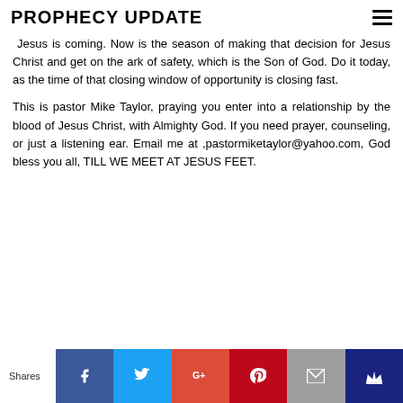PROPHECY UPDATE
Jesus is coming. Now is the season of making that decision for Jesus Christ and get on the ark of safety, which is the Son of God. Do it today, as the time of that closing window of opportunity is closing fast.
This is pastor Mike Taylor, praying you enter into a relationship by the blood of Jesus Christ, with Almighty God. If you need prayer, counseling, or just a listening ear. Email me at ,pastormiketaylor@yahoo.com, God bless you all, TILL WE MEET AT JESUS FEET.
[Figure (infographic): Social sharing bar with buttons for Facebook, Twitter, Google+, Pinterest, Email, and a crown/bookmark icon. Label 'Shares' on the left.]